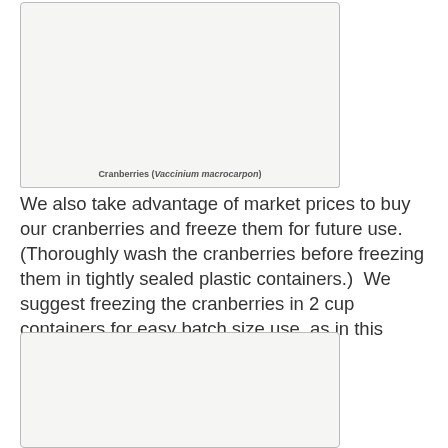[Figure (photo): Photo of cranberries (Vaccinium macrocarpon)]
Cranberries (Vaccinium macrocarpon)
We also take advantage of market prices to buy our cranberries and freeze them for future use.  (Thoroughly wash the cranberries before freezing them in tightly sealed plastic containers.)  We suggest freezing the cranberries in 2 cup containers for easy batch size use, as in this recipe.
[Figure (photo): Second photo related to cranberries]